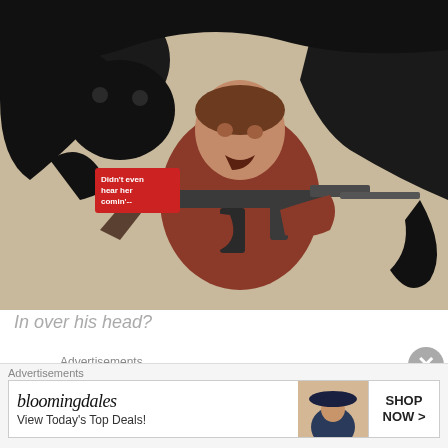[Figure (illustration): Comic book illustration showing a man with a machine gun being attacked by a large black panther/cat. The man has a shocked expression. A small red speech bubble reads 'Didn't even hear her comin'--']
In over his head?
Advertisements
[Figure (screenshot): Pressable advertisement showing the Pressable logo (blue P icon) followed by 'Pressable', then dots, then large text reading 'The Platform Where WordPress']
Advertisements
[Figure (screenshot): Bloomingdale's advertisement: bloomingdales logo in italic serif font, 'View Today's Top Deals!', image of woman with hat, and 'SHOP NOW >' button]